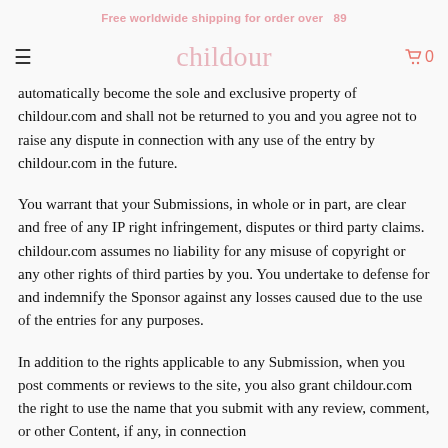Free worldwide shipping for order over   89
automatically become the sole and exclusive property of childour.com and shall not be returned to you and you agree not to raise any dispute in connection with any use of the entry by childour.com in the future.
You warrant that your Submissions, in whole or in part, are clear and free of any IP right infringement, disputes or third party claims. childour.com assumes no liability for any misuse of copyright or any other rights of third parties by you. You undertake to defense for and indemnify the Sponsor against any losses caused due to the use of the entries for any purposes.
In addition to the rights applicable to any Submission, when you post comments or reviews to the site, you also grant childour.com the right to use the name that you submit with any review, comment, or other Content, if any, in connection